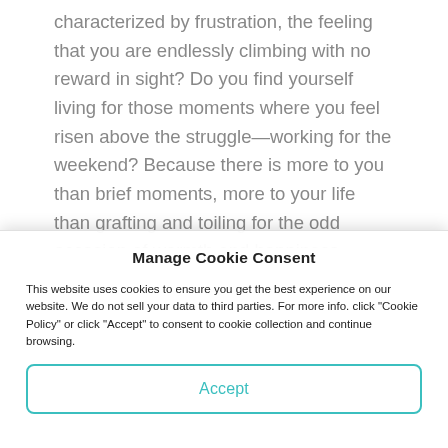characterized by frustration, the feeling that you are endlessly climbing with no reward in sight? Do you find yourself living for those moments where you feel risen above the struggle—working for the weekend? Because there is more to you than brief moments, more to your life than grafting and toiling for the odd occasion of warmth and happiness, searching for something that transcends and lifts you up. You've already found it. It was given to you before you were born; the feeling of family fo...
Manage Cookie Consent
This website uses cookies to ensure you get the best experience on our website. We do not sell your data to third parties. For more info. click "Cookie Policy" or click "Accept" to consent to cookie collection and continue browsing.
Accept